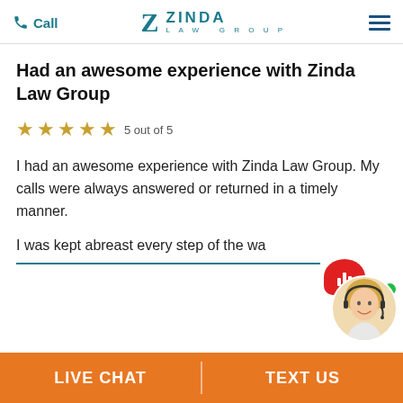Call | ZINDA LAW GROUP
Had an awesome experience with Zinda Law Group
5 out of 5
I had an awesome experience with Zinda Law Group. My calls were always answered or returned in a timely manner.
I was kept abreast every step of the wa...
[Figure (photo): Customer support avatar showing a blonde woman with headset and a red chat bubble with bar chart icon and green online indicator]
LIVE CHAT
TEXT US